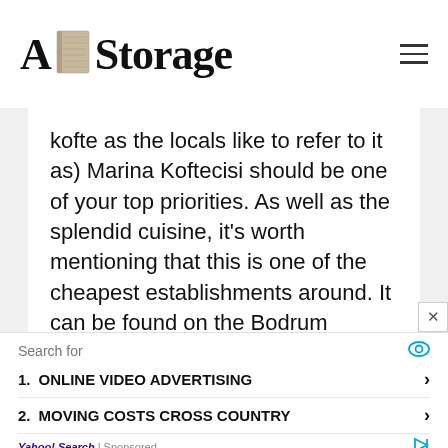A Storage
kofte as the locals like to refer to it as) Marina Koftecisi should be one of your top priorities. As well as the splendid cuisine, it's worth mentioning that this is one of the cheapest establishments around. It can be found on the Bodrum Marina.
About The Museum
Search for
1. ONLINE VIDEO ADVERTISING
2. MOVING COSTS CROSS COUNTRY
Yahoo! Search | Sponsored